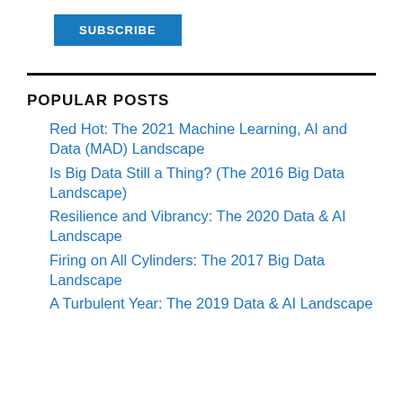[Figure (other): SUBSCRIBE button in blue]
POPULAR POSTS
Red Hot: The 2021 Machine Learning, AI and Data (MAD) Landscape
Is Big Data Still a Thing? (The 2016 Big Data Landscape)
Resilience and Vibrancy: The 2020 Data & AI Landscape
Firing on All Cylinders: The 2017 Big Data Landscape
A Turbulent Year: The 2019 Data & AI Landscape